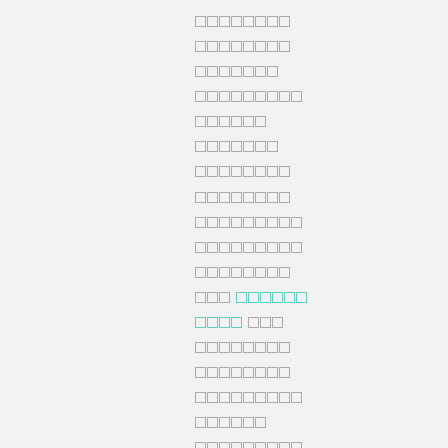[redacted/obscured text lines with mixed gray and teal character blocks]